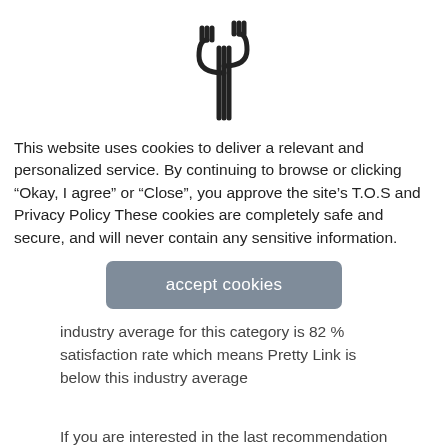[Figure (illustration): Cactus icon outline in black, centered at top of page]
This website uses cookies to deliver a relevant and personalized service. By continuing to browse or clicking “Okay, I agree” or “Close”, you approve the site’s T.O.S and Privacy Policy These cookies are completely safe and secure, and will never contain any sensitive information.
[Figure (other): Gray rounded rectangle button with text 'accept cookies']
industry average for this category is 82 % satisfaction rate which means Pretty Link is below this industry average
If you are interested in the last recommendation and now eager to check its alternative for comparison, then check